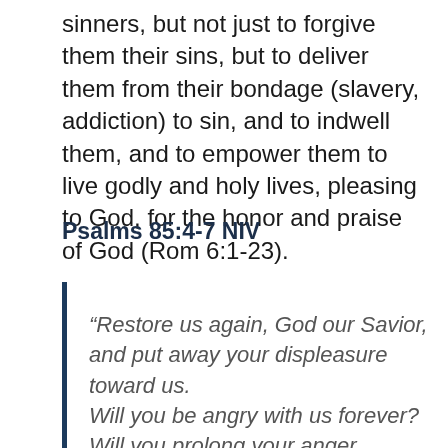sinners, but not just to forgive them their sins, but to deliver them from their bondage (slavery, addiction) to sin, and to indwell them, and to empower them to live godly and holy lives, pleasing to God, for the honor and praise of God (Rom 6:1-23).
Psalms 85:4-7 NIV
“Restore us again, God our Savior, and put away your displeasure toward us. Will you be angry with us forever? Will you prolong your anger through all generations?